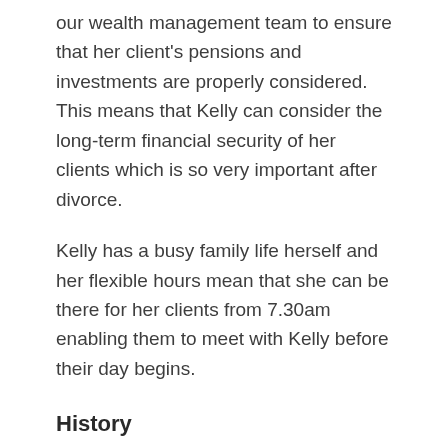our wealth management team to ensure that her client's pensions and investments are properly considered. This means that Kelly can consider the long-term financial security of her clients which is so very important after divorce.
Kelly has a busy family life herself and her flexible hours mean that she can be there for her clients from 7.30am enabling them to meet with Kelly before their day begins.
History
Kelly studied at Nottingham Law School & Sheffield University and joined Banner Jones in November 2017 from Stowe Family Law, the UKs largest specialist Family Law firm in Cheshire. Kelly brings with her a wealth of experience dealing with high net